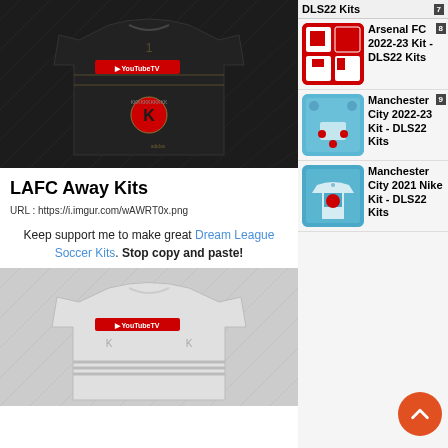[Figure (photo): LAFC Away Kit flat image on dark background with YouTubeTV branding]
LAFC Away Kits
URL : https://i.imgur.com/wAWRT0x.png
Keep support me to make great Dream League Soccer Kits. Stop copy and paste!
[Figure (photo): LAFC Away Kit white/grey variant with YouTubeTV branding]
[Figure (photo): Arsenal FC 2022-23 Kit - DLS22 Kits thumbnail]
Arsenal FC 2022-23 Kit - DLS22 Kits
[Figure (photo): Manchester City 2022-23 Kit - DLS22 Kits thumbnail]
Manchester City 2022-23 Kit - DLS22 Kits
[Figure (photo): Manchester City 2021 Nike Kit - DLS22 Kits thumbnail]
Manchester City 2021 Nike Kit - DLS22 Kits